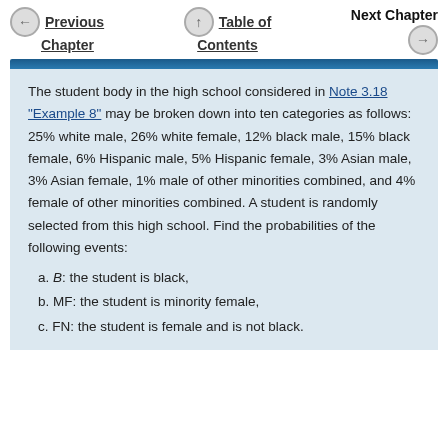Previous Chapter | Table of Contents | Next Chapter
The student body in the high school considered in Note 3.18 "Example 8" may be broken down into ten categories as follows: 25% white male, 26% white female, 12% black male, 15% black female, 6% Hispanic male, 5% Hispanic female, 3% Asian male, 3% Asian female, 1% male of other minorities combined, and 4% female of other minorities combined. A student is randomly selected from this high school. Find the probabilities of the following events:
a. B: the student is black,
b. MF: the student is minority female,
c. FN: the student is female and is not black.